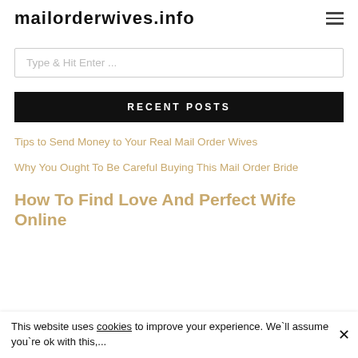mailorderwives.info
Type & Hit Enter ...
RECENT POSTS
Tips to Send Money to Your Real Mail Order Wives
Why You Ought To Be Careful Buying This Mail Order Bride
How To Find Love And Perfect Wife Online
This website uses cookies to improve your experience. We`ll assume you`re ok with this,...